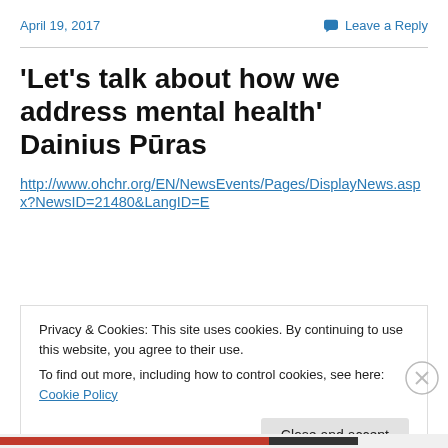April 19, 2017   Leave a Reply
‘Let’s talk about how we address mental health’ Dainius Pūras
http://www.ohchr.org/EN/NewsEvents/Pages/DisplayNews.aspx?NewsID=21480&LangID=E
Privacy & Cookies: This site uses cookies. By continuing to use this website, you agree to their use.
To find out more, including how to control cookies, see here: Cookie Policy